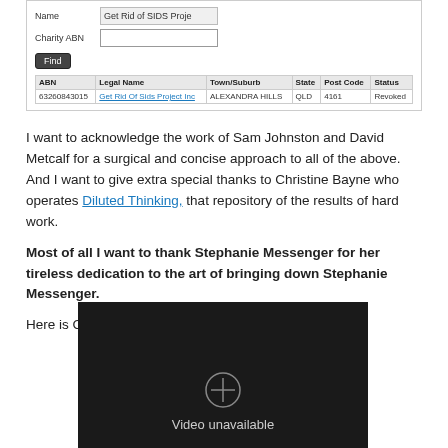[Figure (screenshot): Screenshot of a charity register search form showing a search for 'Get Rid of SIDS Proje' with results table showing ABN 63260843015, Legal Name: Get Rid Of Sids Project Inc, Town/Suburb: ALEXANDRA HILLS, State: QLD, Post Code: 4161, Status: Revoked]
I want to acknowledge the work of Sam Johnston and David Metcalf for a surgical and concise approach to all of the above. And I want to give extra special thanks to Christine Bayne who operates Diluted Thinking, that repository of the results of hard work.
Most of all I want to thank Stephanie Messenger for her tireless dedication to the art of bringing down Stephanie Messenger.
Here is Channel 7 on the good news:
[Figure (screenshot): Embedded video player showing a dark/black screen with a circular icon and the text 'Video unavailable']